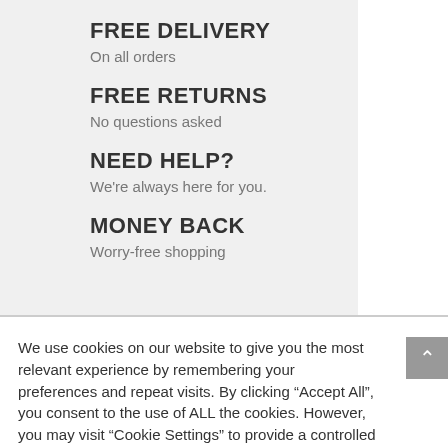FREE DELIVERY
On all orders
FREE RETURNS
No questions asked
NEED HELP?
We're always here for you.
MONEY BACK
Worry-free shopping
We use cookies on our website to give you the most relevant experience by remembering your preferences and repeat visits. By clicking "Accept All", you consent to the use of ALL the cookies. However, you may visit "Cookie Settings" to provide a controlled consent.
Cookie Settings
Accept All